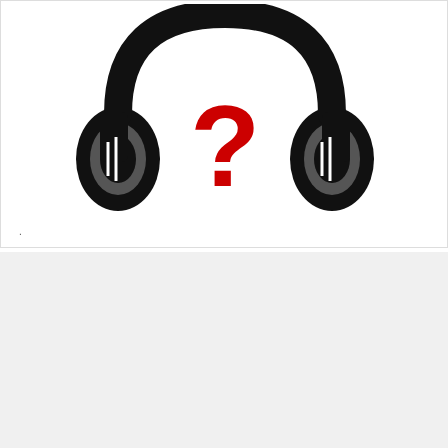[Figure (illustration): Headphones with a red question mark in the center, black silhouette style on white background]
.
Tarifs annonces
Promotion des associations
[Figure (illustration): PDF document icon with red PDF badge]
Tarif promotion des associations sur Radio C2L.
PDF - 213 ko
[Figure (illustration): PDF document icon]
radio C2L promotion des collectivités